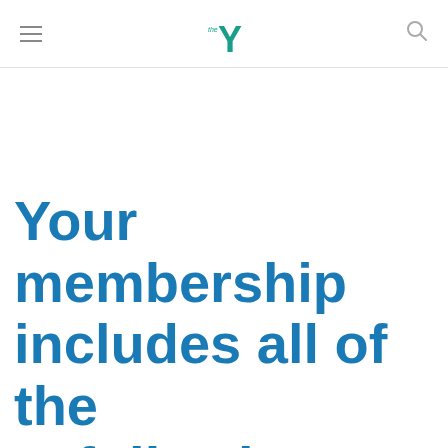YMCA navigation header with hamburger menu, YMCA logo, and search icon
Your membership includes all of the following: